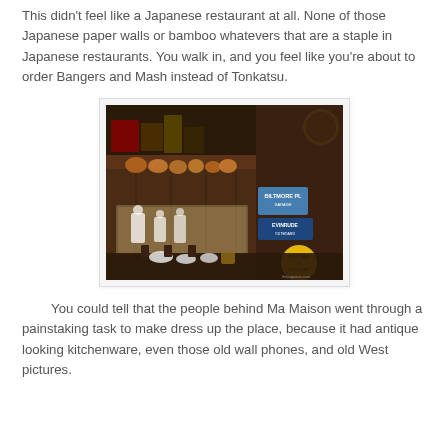This didn't feel like a Japanese restaurant at all. None of those Japanese paper walls or bamboo whatevers that are a staple in Japanese restaurants. You walk in, and you feel like you're about to order Bangers and Mash instead of Tonkatsu.
[Figure (photo): Interior of Ma Maison restaurant showing a rustic, Western-style decor with dark wood paneling, copper pots hanging on a shelf, vintage signage including 'Biltmore' and 'Evinrude' signs, antique decorative items, and chefs visible through a kitchen window in the background.]
You could tell that the people behind Ma Maison went through a painstaking task to make dress up the place, because it had antique looking kitchenware, even those old wall phones, and old West pictures.